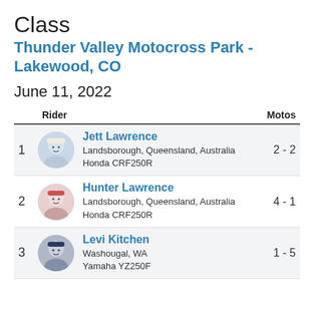Class
Thunder Valley Motocross Park - Lakewood, CO
June 11, 2022
| Rider | Motos |
| --- | --- |
| 1 | Jett Lawrence
Landsborough, Queensland, Australia
Honda CRF250R | 2 - 2 |
| 2 | Hunter Lawrence
Landsborough, Queensland, Australia
Honda CRF250R | 4 - 1 |
| 3 | Levi Kitchen
Washougal, WA
Yamaha YZ250F | 1 - 5 |